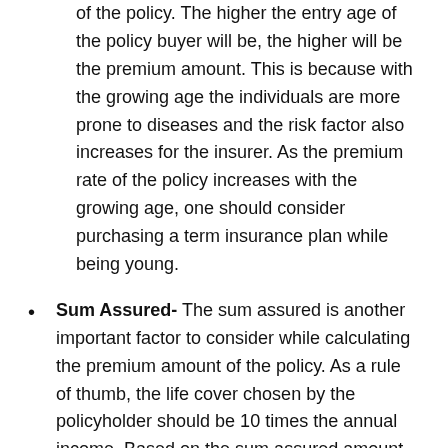of the policy. The higher the entry age of the policy buyer will be, the higher will be the premium amount. This is because with the growing age the individuals are more prone to diseases and the risk factor also increases for the insurer. As the premium rate of the policy increases with the growing age, one should consider purchasing a term insurance plan while being young.
Sum Assured- The sum assured is another important factor to consider while calculating the premium amount of the policy. As a rule of thumb, the life cover chosen by the policyholder should be 10 times the annual income. Based on the sum assured amount is chosen by the policyholder, the HDFC term insurance calculated the premium amount of the policy.
Gender- The gender of insurance buyers also plays an